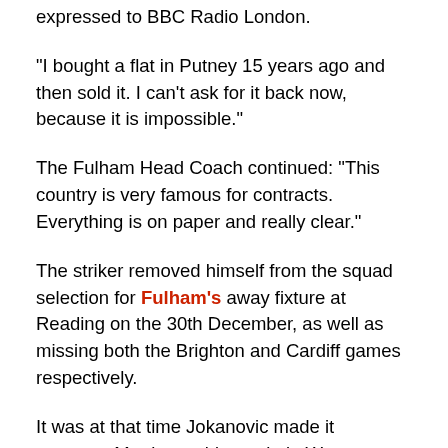expressed to BBC Radio London.
"I bought a flat in Putney 15 years ago and then sold it. I can't ask for it back now, because it is impossible."
The Fulham Head Coach continued: "This country is very famous for contracts. Everything is on paper and really clear."
The striker removed himself from the squad selection for Fulham's away fixture at Reading on the 30th December, as well as missing both the Brighton and Cardiff games respectively.
It was at that time Jokanovic made it apparent Martin would remain in West London, as the Serbian suggested that Fulham, as the oldest club in London, needed to be respected and will not be treated as a